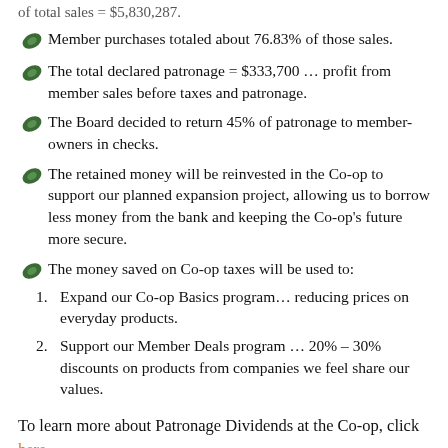of total sales = $5,830,287.
Member purchases totaled about 76.83% of those sales.
The total declared patronage = $333,700 … profit from member sales before taxes and patronage.
The Board decided to return 45% of patronage to member-owners in checks.
The retained money will be reinvested in the Co-op to support our planned expansion project, allowing us to borrow less money from the bank and keeping the Co-op's future more secure.
The money saved on Co-op taxes will be used to:
1. Expand our Co-op Basics program… reducing prices on everyday products.
2. Support our Member Deals program … 20% – 30% discounts on products from companies we feel share our values.
To learn more about Patronage Dividends at the Co-op, click here.